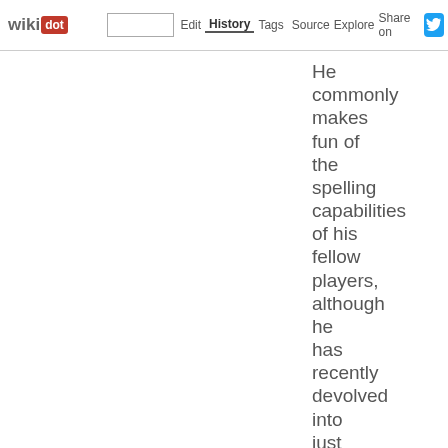wiki dot | site | Edit | History | Tags | Source | Explore | Share on
He commonly makes fun of the spelling capabilities of his fellow players, although he has recently devolved into just teasing Saphire about her minor spelling